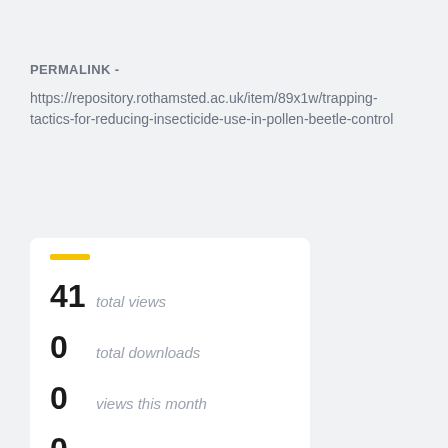PERMALINK -
https://repository.rothamsted.ac.uk/item/89x1w/trapping-tactics-for-reducing-insecticide-use-in-pollen-beetle-control
Log in to edit
| 41 | total views |
| 0 | total downloads |
| 0 | views this month |
| 0 | downloads this month |